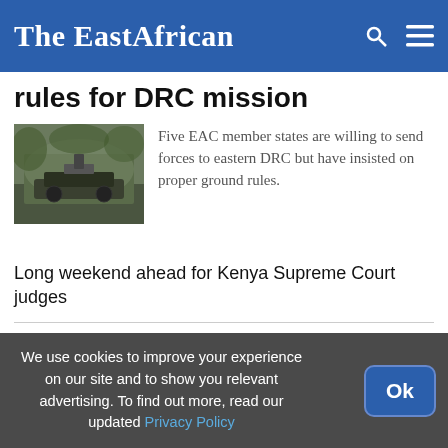The EastAfrican
rules for DRC mission
[Figure (photo): Military personnel or equipment related to DRC mission]
Five EAC member states are willing to send forces to eastern DRC but have insisted on proper ground rules.
Long weekend ahead for Kenya Supreme Court judges
Foreigners role questioned in Kenya elections
Ugandan prophet detained for canning worshippers
We use cookies to improve your experience on our site and to show you relevant advertising. To find out more, read our updated Privacy Policy